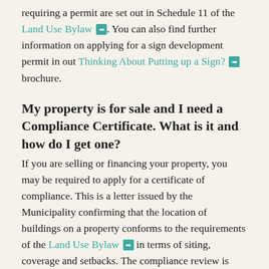requiring a permit are set out in Schedule 11 of the Land Use Bylaw. You can also find further information on applying for a sign development permit in out Thinking About Putting up a Sign? brochure.
My property is for sale and I need a Compliance Certificate. What is it and how do I get one?
If you are selling or financing your property, you may be required to apply for a certificate of compliance. This is a letter issued by the Municipality confirming that the location of buildings on a property conforms to the requirements of the Land Use Bylaw in terms of siting, coverage and setbacks. The compliance review is based on a Real Property Report (RPR) prepared by an Alberta Land Surveyor.